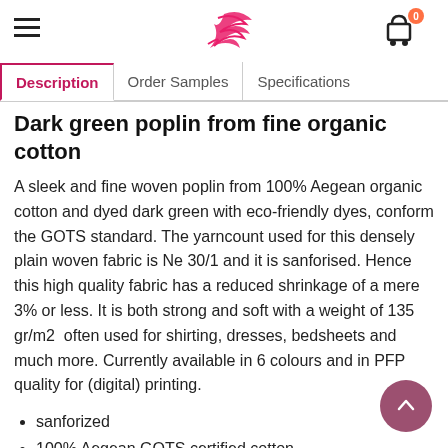[logo: stylized eagle/flag mark in pink/red] [hamburger menu] [cart icon with badge 0]
Description | Order Samples | Specifications
Dark green poplin from fine organic cotton
A sleek and fine woven poplin from 100% Aegean organic cotton and dyed dark green with eco-friendly dyes, conform the GOTS standard. The yarncount used for this densely plain woven fabric is Ne 30/1 and it is sanforised. Hence this high quality fabric has a reduced shrinkage of a mere 3% or less. It is both strong and soft with a weight of 135 gr/m2  often used for shirting, dresses, bedsheets and much more. Currently available in 6 colours and in PFP quality for (digital) printing.
sanforized
100% Aegean GOTS certified cotton
strong and soft